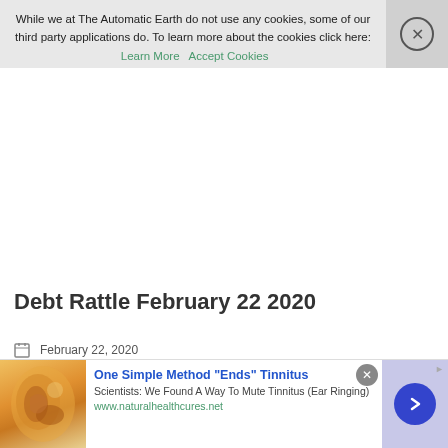While we at The Automatic Earth do not use any cookies, some of our third party applications do. To learn more about the cookies click here: Learn More   Accept Cookies
Debt Rattle February 22 2020
February 22, 2020
Posted by Raúl Ilargi Meijer at 11:14 am
[Figure (photo): Advertisement banner: ear photo with text 'One Simple Method "Ends" Tinnitus. Scientists: We Found A Way To Mute Tinnitus (Ear Ringing). www.naturalhealthcures.net']